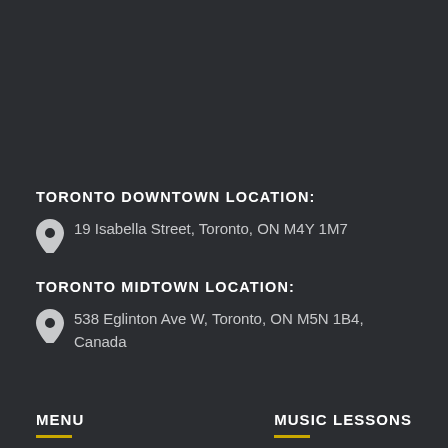TORONTO DOWNTOWN LOCATION:
19 Isabella Street, Toronto, ON M4Y 1M7
TORONTO MIDTOWN LOCATION:
538 Eglinton Ave W, Toronto, ON M5N 1B4, Canada
MENU | MUSIC LESSONS